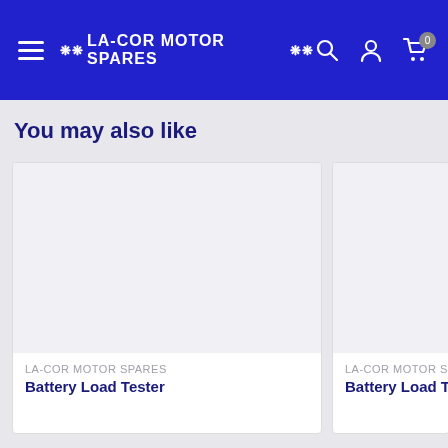LA-COR MOTOR SPARES
You may also like
[Figure (screenshot): Product card with white background image area for a Battery Load Tester product from LA-COR MOTOR SPARES]
LA-COR MOTOR SPARES
Battery Load Tester
[Figure (screenshot): Partially visible second product card for a Battery Load Tester from LA-COR MOTOR SPARES]
LA-COR MOTOR SPARE
Battery Load Teste